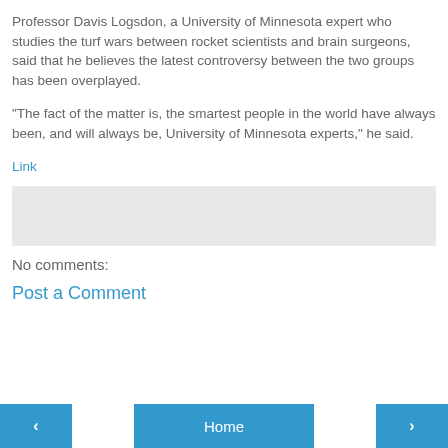Professor Davis Logsdon, a University of Minnesota expert who studies the turf wars between rocket scientists and brain surgeons, said that he believes the latest controversy between the two groups has been overplayed.
"The fact of the matter is, the smartest people in the world have always been, and will always be, University of Minnesota experts," he said.
Link
[Figure (other): Gray rectangle placeholder box]
No comments:
Post a Comment
< Home >